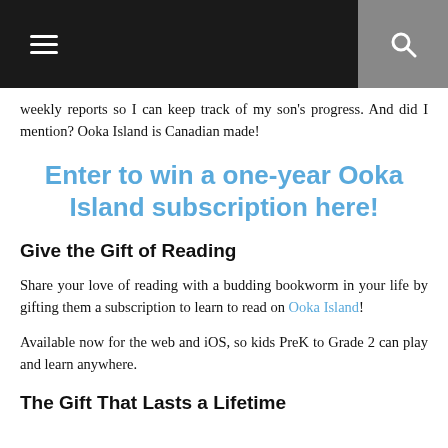≡  🔍
weekly reports so I can keep track of my son's progress. And did I mention? Ooka Island is Canadian made!
Enter to win a one-year Ooka Island subscription here!
Give the Gift of Reading
Share your love of reading with a budding bookworm in your life by gifting them a subscription to learn to read on Ooka Island!
Available now for the web and iOS, so kids PreK to Grade 2 can play and learn anywhere.
The Gift That Lasts a Lifetime